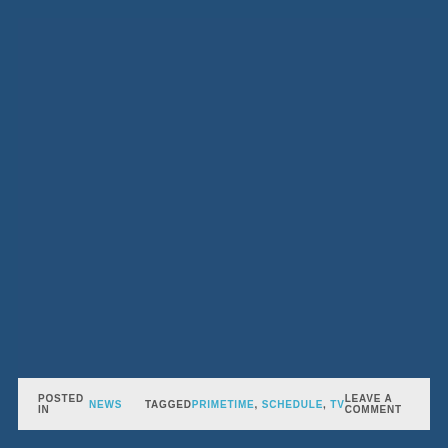[Figure (other): Large solid steel blue rectangle filling most of the page, serving as a background image or placeholder.]
POSTED IN NEWS   TAGGED PRIMETIME, SCHEDULE, TVLEAVE A COMMENT